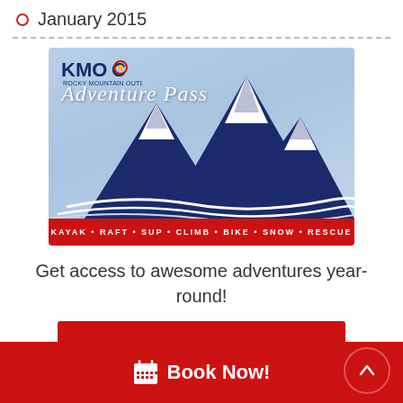January 2015
[Figure (illustration): KMOC Adventure Pass card image showing snowy mountains on a blue background with text 'Adventure Pass' and a red bar at the bottom listing: KAYAK • RAFT • SUP • CLIMB • BIKE • SNOW • RESCUE]
Get access to awesome adventures year-round!
Learn More
Book Now!